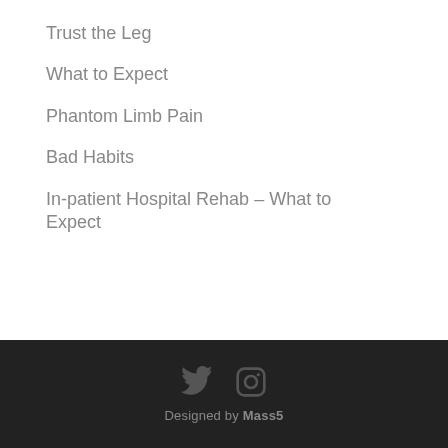Trust the Leg
What to Expect
Phantom Limb Pain
Bad Habits
In-patient Hospital Rehab – What to Expect
Designed by Mass5